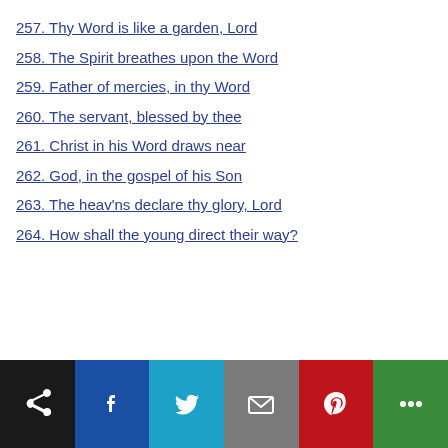257. Thy Word is like a garden, Lord
258. The Spirit breathes upon the Word
259. Father of mercies, in thy Word
260. The servant, blessed by thee
261. Christ in his Word draws near
262. God, in the gospel of his Son
263. The heav'ns declare thy glory, Lord
264. How shall the young direct their way?
[Figure (other): Social sharing toolbar with share, Facebook, Twitter, Email, Pinterest, and More buttons]